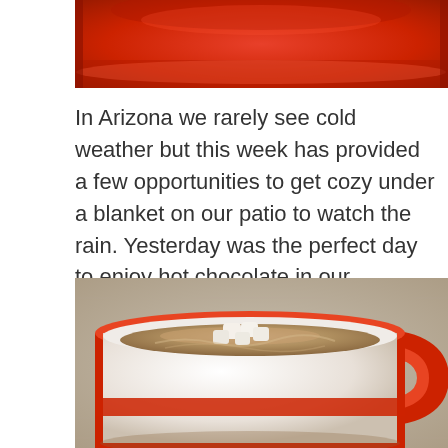[Figure (photo): Top portion of a red ceramic mug or pot, showing the red lid and rim area against a white background]
In Arizona we rarely see cold weather but this week has provided a few opportunities to get cozy under a blanket on our patio to watch the rain. Yesterday was the perfect day to enjoy hot chocolate in our reusable red cup coffee mugs with family.
[Figure (photo): A red ceramic coffee mug filled with hot chocolate topped with small marshmallows, sitting on a grey woven textile surface]